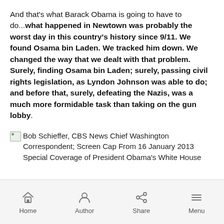And that's what Barack Obama is going to have to do...what happened in Newtown was probably the worst day in this country's history since 9/11. We found Osama bin Laden. We tracked him down. We changed the way that we dealt with that problem. Surely, finding Osama bin Laden; surely, passing civil rights legislation, as Lyndon Johnson was able to do; and before that, surely, defeating the Nazis, was a much more formidable task than taking on the gun lobby.
Bob Schieffer, CBS News Chief Washington Correspondent; Screen Cap From 16 January 2013 Special Coverage of President Obama's White House
Home | Author | Share | Menu